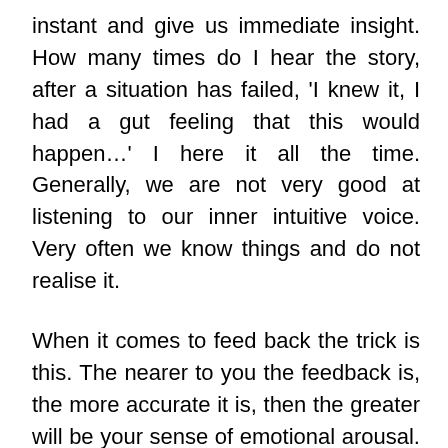instant and give us immediate insight. How many times do I hear the story, after a situation has failed, 'I knew it, I had a gut feeling that this would happen…' I here it all the time. Generally, we are not very good at listening to our inner intuitive voice. Very often we know things and do not realise it.
When it comes to feed back the trick is this. The nearer to you the feedback is, the more accurate it is, then the greater will be your sense of emotional arousal. Example: if someone tells you that you are a selfish pig and they hate you, if you have a sudden intake